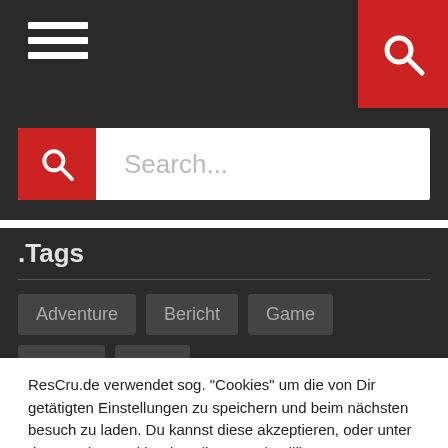[Figure (screenshot): Navigation bar with hamburger menu icon on the left and red search icon on the right]
[Figure (screenshot): Search bar with red search icon and 'Search...' placeholder text]
.Tags
Adventure
Bericht
Game
Horror
Indie
ResCru.de verwendet sog. "Cookies" um die von Dir getätigten Einstellungen zu speichern und beim nächsten besuch zu laden. Du kannst diese akzeptieren, oder unter dem Punkt "Cookie Einstellungen" detaillierte Einstellungen vornehmen.
Cookie Einstellungen
Alle akzeptieren